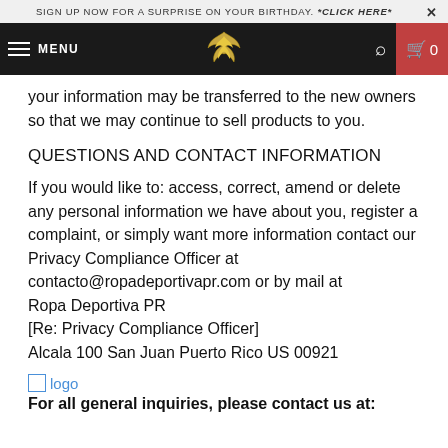SIGN UP NOW FOR A SURPRISE ON YOUR BIRTHDAY. *CLICK HERE* ×
[Figure (screenshot): Website navigation bar with hamburger menu (MENU), brand logo (stylized bird/wing icon), search icon, and cart icon showing 0 items on dark background with red cart box]
your information may be transferred to the new owners so that we may continue to sell products to you.
QUESTIONS AND CONTACT INFORMATION
If you would like to: access, correct, amend or delete any personal information we have about you, register a complaint, or simply want more information contact our Privacy Compliance Officer at contacto@ropadeportivapr.com or by mail at Ropa Deportiva PR [Re: Privacy Compliance Officer] Alcala 100 San Juan Puerto Rico US 00921
[Figure (logo): Small broken image placeholder with 'logo' alt text link in blue]
For all general inquiries, please contact us at: